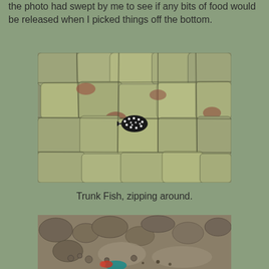the photo had swept by me to see if any bits of food would be released when I picked things off the bottom.
[Figure (photo): Underwater photo of a small black and white spotted trunk fish (boxfish) camouflaged against a rocky, algae-covered seafloor with green, brown, and red textures.]
Trunk Fish, zipping around.
[Figure (photo): Underwater photo of a rocky, sandy seafloor with small pebbles and what appears to be a colorful fish or creature partially visible at the bottom of the frame.]